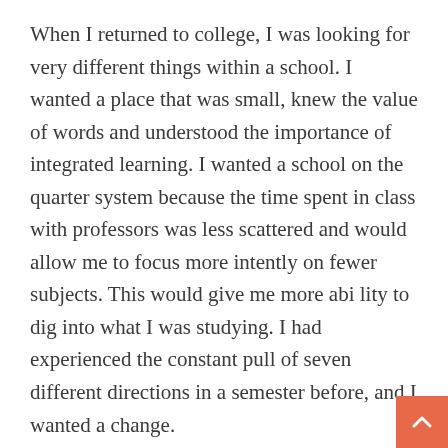When I returned to college, I was looking for very different things within a school. I wanted a place that was small, knew the value of words and understood the importance of integrated learning. I wanted a school on the quarter system because the time spent in class with professors was less scattered and would allow me to focus more intently on fewer subjects. This would give me more abi lity to dig into what I was studying. I had experienced the constant pull of seven different directions in a semester before, and I wanted a change.
I had looked at Principia College many years before, but at the time it was not the proper fit for me. However, having the school on my radar from 10 years ago made it a prime candidate in 2010 when I sta